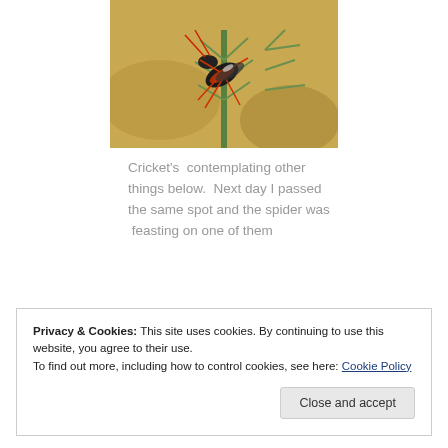[Figure (photo): Close-up photograph of a grasshopper or cricket with red/black markings clinging to a spiky thistle plant. Background is blurred sandy/brown and green vegetation.]
Cricket's  contemplating other things below.  Next day I passed the same spot and the spider was  feasting on one of them
Privacy & Cookies: This site uses cookies. By continuing to use this website, you agree to their use.
To find out more, including how to control cookies, see here: Cookie Policy